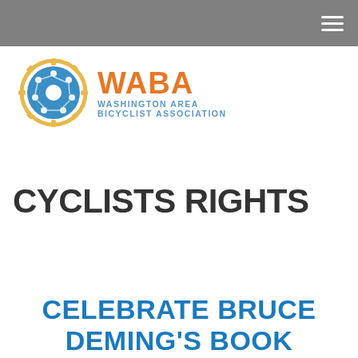[Figure (logo): WABA Washington Area Bicyclist Association logo with gear icon]
CYCLISTS RIGHTS
CELEBRATE BRUCE DEMING'S BOOK